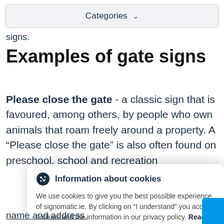Categories
signs.
Examples of gate signs
Please close the gate - a classic sign that is favoured, among others, by people who own animals that roam freely around a property. A “Please close the gate” is also often found on preschool, school and recreation
Information about cookies
We use cookies to give you the best possible experience of signomatic.ie. By clicking on “I understand” you accept cookies and the information in our privacy policy. Read more about our cookies and manage your preferences here.
I understand
name and address.